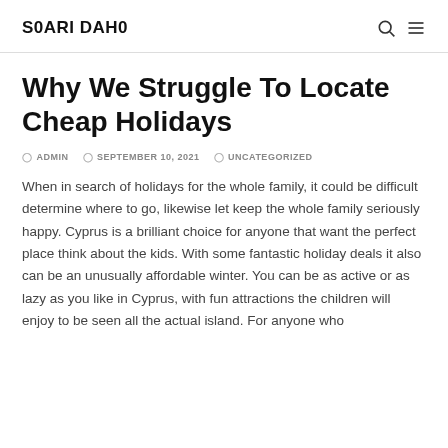S0ARI DAH0
Why We Struggle To Locate Cheap Holidays
ADMIN   SEPTEMBER 10, 2021   UNCATEGORIZED
When in search of holidays for the whole family, it could be difficult determine where to go, likewise let keep the whole family seriously happy. Cyprus is a brilliant choice for anyone that want the perfect place think about the kids. With some fantastic holiday deals it also can be an unusually affordable winter. You can be as active or as lazy as you like in Cyprus, with fun attractions the children will enjoy to be seen all the actual island. For anyone who